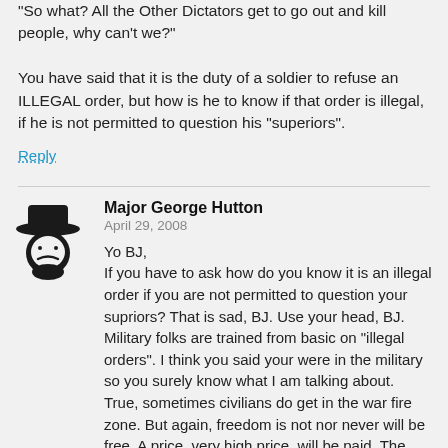"So what? All the Other Dictators get to go out and kill people, why can't we?"

You have said that it is the duty of a soldier to refuse an ILLEGAL order, but how is he to know if that order is illegal, if he is not permitted to question his "superiors".
Reply
Major George Hutton
April 29, 2008
Yo BJ,
If you have to ask how do you know it is an illegal order if you are not permitted to question your supriors? That is sad, BJ. Use your head, BJ. Military folks are trained from basic on "illegal orders". I think you said your were in the military so you surely know what I am talking about.
True, sometimes civilians do get in the war fire zone. But again, freedom is not nor never will be free. A price, very high price, will be paid. The days of soldier to soldier war is gone (if it ever really was). Civilians are now targets, as they should be. The farmer growing food for the troops to the lady making equipment for the troops etc etc so that it is no longer just a soldier thing. War is not pretty, BJ. Should be – must be – the last act of a nation. Try to